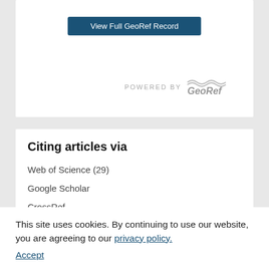View Full GeoRef Record
[Figure (logo): POWERED BY GeoRef logo]
Citing articles via
Web of Science (29)
Google Scholar
CrossRef
Related Articles
This site uses cookies. By continuing to use our website, you are agreeing to our privacy policy. Accept